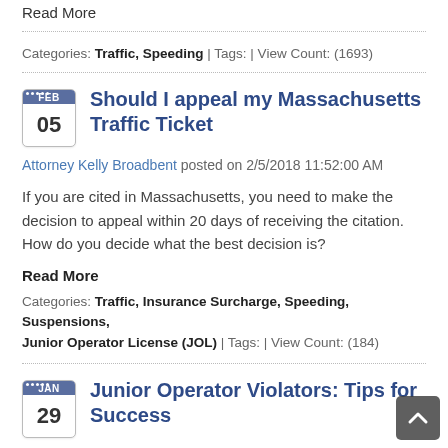Read More
Categories: Traffic, Speeding | Tags: | View Count: (1693)
Should I appeal my Massachusetts Traffic Ticket
Attorney Kelly Broadbent posted on 2/5/2018 11:52:00 AM
If you are cited in Massachusetts, you need to make the decision to appeal within 20 days of receiving the citation. How do you decide what the best decision is?
Read More
Categories: Traffic, Insurance Surcharge, Speeding, Suspensions, Junior Operator License (JOL) | Tags: | View Count: (184)
Junior Operator Violators: Tips for Success
Attorney Kelly Broadbent posted on 1/29/2018 1:05:00 PM
Fighting a Junior Operator (JOL) Citation in Massachusetts can be a necessary evil. If you pay the ticket, the junior operator will receive a lengthy suspension, a hefty fee, driver retraining, and will have